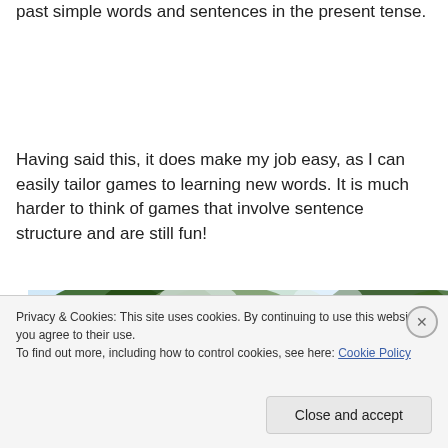past simple words and sentences in the present tense.
Having said this, it does make my job easy, as I can easily tailor games to learning new words. It is much harder to think of games that involve sentence structure and are still fun!
[Figure (photo): A photo of trees with green foliage against a sky background, partially obscured by a cookie consent banner overlay.]
Privacy & Cookies: This site uses cookies. By continuing to use this website, you agree to their use.
To find out more, including how to control cookies, see here: Cookie Policy